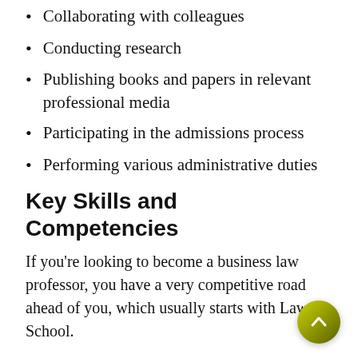Collaborating with colleagues
Conducting research
Publishing books and papers in relevant professional media
Participating in the admissions process
Performing various administrative duties
Key Skills and Competencies
If you’re looking to become a business law professor, you have a very competitive road ahead of you, which usually starts with Law School.
To become a business law professor, you need: